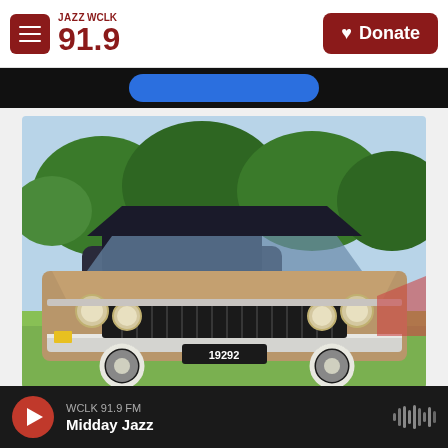JAZZ WCLK 91.9 — Donate
[Figure (screenshot): Blue button/banner partially visible below nav bar]
[Figure (photo): Classic vintage Cadillac car (license plate 19292) at an outdoor car show, front view, chrome grille and quad headlights, brown/gold color, parked on grass with trees in background]
WCLK 91.9 FM — Midday Jazz